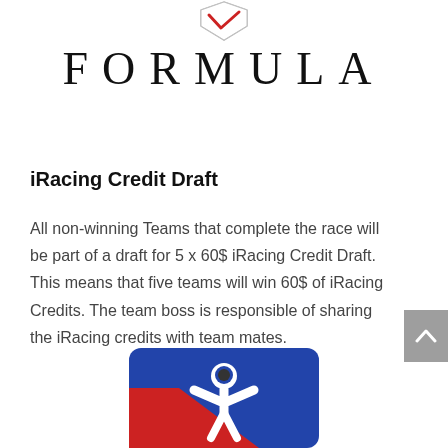[Figure (logo): Shield/crest logo at top center]
FORMULA
iRacing Credit Draft
All non-winning Teams that complete the race will be part of a draft for 5 x 60$ iRacing Credit Draft. This means that five teams will win 60$ of iRacing Credits. The team boss is responsible of sharing the iRacing credits with team mates.
[Figure (logo): iRacing logo — stylized racing driver silhouette in red white and blue on rounded rectangle background]